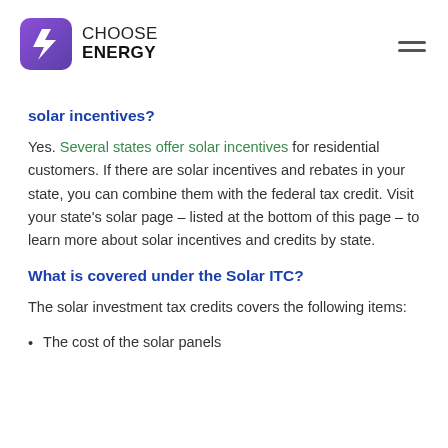CHOOSE ENERGY
solar incentives?
Yes. Several states offer solar incentives for residential customers. If there are solar incentives and rebates in your state, you can combine them with the federal tax credit. Visit your state's solar page – listed at the bottom of this page – to learn more about solar incentives and credits by state.
What is covered under the Solar ITC?
The solar investment tax credits covers the following items:
The cost of the solar panels